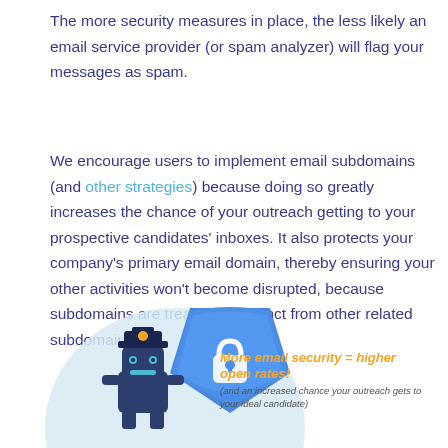The more security measures in place, the less likely an email service provider (or spam analyzer) will flag your messages as spam.
We encourage users to implement email subdomains (and other strategies) because doing so greatly increases the chance of your outreach getting to your prospective candidates' inboxes. It also protects your company's primary email domain, thereby ensuring your other activities won't become disrupted, because subdomains are treated as distinct from other related subdomains.
[Figure (illustration): A robot character wearing a police hat standing next to a large blue shield with a padlock icon, on a light blue circular background. To the right, orange italic bold text reads 'More email security = higher open rates!' with smaller gray italic text below: '(and an increased chance your outreach gets to your ideal candidate)']